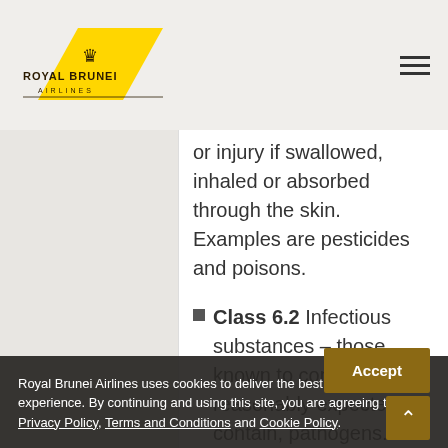Royal Brunei Airlines
or injury if swallowed, inhaled or absorbed through the skin. Examples are pesticides and poisons.
Class 6.2 Infectious substances – those known to contain, or reasonably expected to contain, pathogens.
Royal Brunei Airlines uses cookies to deliver the best possible web experience. By continuing and using this site, you are agreeing to RB's Privacy Policy, Terms and Conditions and Cookie Policy.